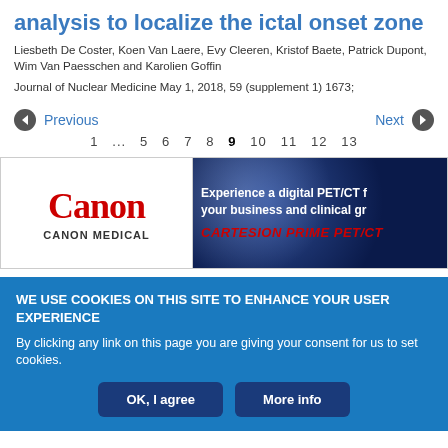analysis to localize the ictal onset zone
Liesbeth De Coster, Koen Van Laere, Evy Cleeren, Kristof Baete, Patrick Dupont, Wim Van Paesschen and Karolien Goffin
Journal of Nuclear Medicine May 1, 2018, 59 (supplement 1) 1673;
Previous ... 1 ... 5 6 7 8 9 10 11 12 13 ... Next
[Figure (photo): Canon Medical advertisement banner showing Canon logo on left and digital PET/CT promotion on right with text 'Experience a digital PET/CT for your business and clinical gr...' and 'CARTESION PRIME PET/CT']
WE USE COOKIES ON THIS SITE TO ENHANCE YOUR USER EXPERIENCE
By clicking any link on this page you are giving your consent for us to set cookies.
OK, I agree | More info